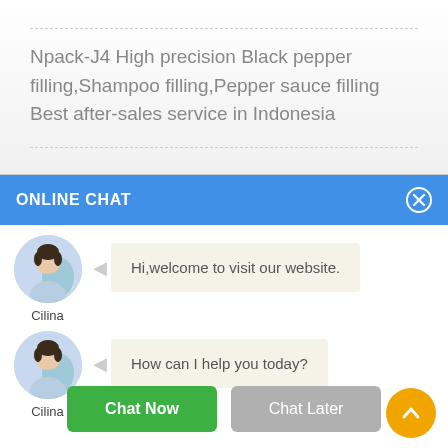Npack-J4 High precision Black pepper filling,Shampoo filling,Pepper sauce filling Best after-sales service in Indonesia
ONLINE CHAT
[Figure (screenshot): Online chat widget showing two chat bubbles from agent named Cilina: 'Hi,welcome to visit our website.' and 'How can I help you today?' with Chat Now and Chat Later buttons]